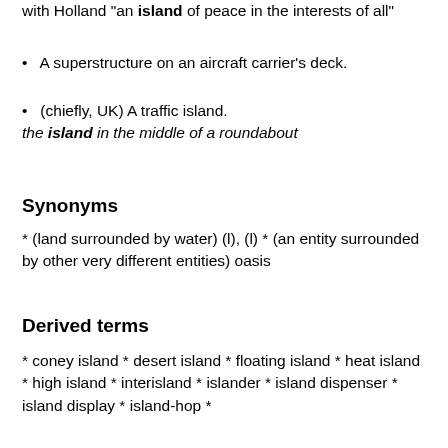with Holland "an island of peace in the interests of all"
A superstructure on an aircraft carrier's deck.
(chiefly, UK) A traffic island. the island in the middle of a roundabout
Synonyms
* (land surrounded by water) (l), (l) * (an entity surrounded by other very different entities) oasis
Derived terms
* coney island * desert island * floating island * heat island * high island * interisland * islander * island dispenser * island display * island-hop *